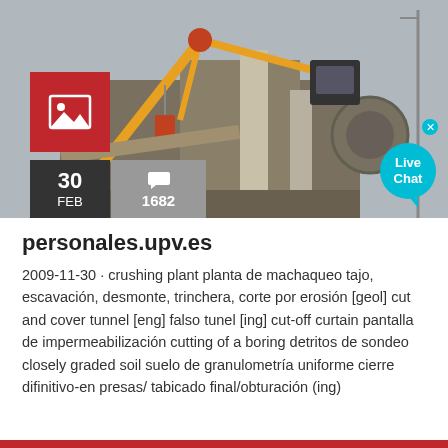[Figure (photo): Construction site with a large yellow crane/excavator arm over a partially demolished concrete building structure, grey sky background. Overlaid with a red image-placeholder icon box, a dark date box showing '30 FEB', a grey comments box showing '1682', and a cyan Live Chat bubble in the lower right.]
personales.upv.es
2009-11-30 · crushing plant planta de machaqueo tajo, escavación, desmonte, trinchera, corte por erosión [geol] cut and cover tunnel [eng] falso tunel [ing] cut-off curtain pantalla de impermeabilización cutting of a boring detritos de sondeo closely graded soil suelo de granulometría uniforme cierre difinitivo-en presas/ tabicado final/obturación (ing)